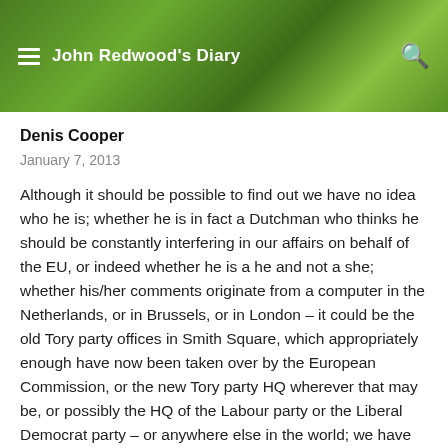John Redwood's Diary
Denis Cooper
January 7, 2013
Although it should be possible to find out we have no idea who he is; whether he is in fact a Dutchman who thinks he should be constantly interfering in our affairs on behalf of the EU, or indeed whether he is a he and not a she; whether his/her comments originate from a computer in the Netherlands, or in Brussels, or in London – it could be the old Tory party offices in Smith Square, which appropriately enough have now been taken over by the European Commission, or the new Tory party HQ wherever that may be, or possibly the HQ of the Labour party or the Liberal Democrat party – or anywhere else in the world; we have no idea whether he's doing it off his own bat from his deep eurofederalist convictions, or he's being paid to do it, or both;